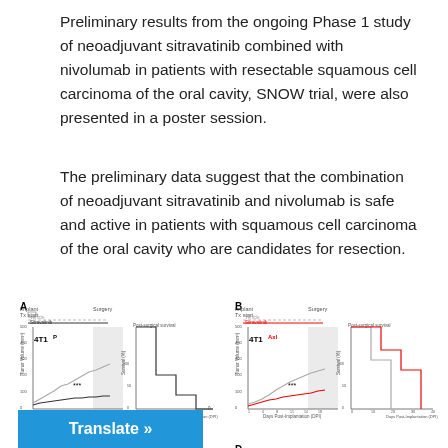Preliminary results from the ongoing Phase 1 study of neoadjuvant sitravatinib combined with nivolumab in patients with resectable squamous cell carcinoma of the oral cavity, SNOW trial, were also presented in a poster session.
The preliminary data suggest that the combination of neoadjuvant sitravatinib and nivolumab is safe and active in patients with squamous cell carcinoma of the oral cavity who are candidates for resection.
[Figure (continuous-plot): Panel A: 4T1P tumor model. Left: primary tumor burden line chart (tumor volume mm3 vs days post-implantation), vehicle vs sitravatinib, with surgery shaded region and *** marker. Right: post-surgical survival Kaplan-Meier curve.]
[Figure (continuous-plot): Panel B: 4T1Axl tumor model. Left: primary tumor burden line chart (tumor volume mm3 vs days post-implantation), vehicle (gray) vs sitravatinib (red), with surgery shaded region and *** marker. Right: post-surgical survival Kaplan-Meier curve (red line).]
[Figure (continuous-plot): Panel C: 4T1P tumor model. Left: primary tumor burden line chart. Right: post-surgical survival Kaplan-Meier curve.]
[Figure (continuous-plot): Panel D: 4T1SuR tumor model. Left: primary tumor burden line chart (vehicle gray vs sitravatinib red). Right: post-surgical survival Kaplan-Meier curve (red).]
Translate »